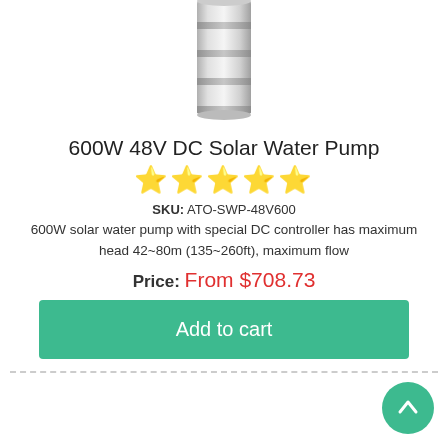[Figure (photo): Partial view of a silver/chrome cylindrical solar water pump, cropped at top.]
600W 48V DC Solar Water Pump
[Figure (other): Five gold star rating icons]
SKU: ATO-SWP-48V600
600W solar water pump with special DC controller has maximum head 42~80m (135~260ft), maximum flow
Price: From $708.73
Add to cart